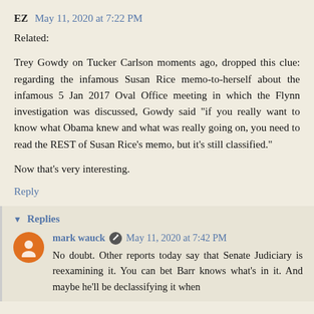EZ  May 11, 2020 at 7:22 PM
Related:

Trey Gowdy on Tucker Carlson moments ago, dropped this clue: regarding the infamous Susan Rice memo-to-herself about the infamous 5 Jan 2017 Oval Office meeting in which the Flynn investigation was discussed, Gowdy said "if you really want to know what Obama knew and what was really going on, you need to read the REST of Susan Rice's memo, but it's still classified."

Now that's very interesting.
Reply
Replies
mark wauck  May 11, 2020 at 7:42 PM
No doubt. Other reports today say that Senate Judiciary is reexamining it. You can bet Barr knows what's in it. And maybe he'll be declassifying it when